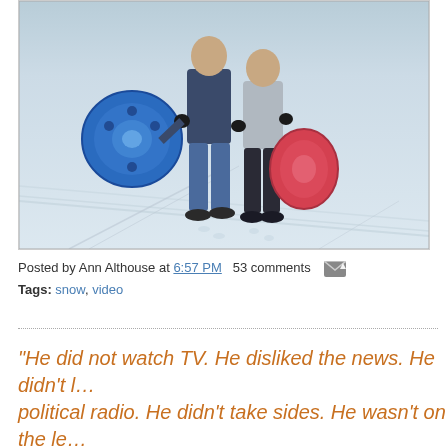[Figure (photo): Two people standing on snow holding circular plastic sled discs — one blue (held by person on left), one pink/red (held by person on right). Snow-covered ground with sled tracks visible.]
Posted by Ann Althouse at 6:57 PM  53 comments  [email icon]
Tags: snow, video
"He did not watch TV. He disliked the news. He didn't l... political radio. He didn't take sides. He wasn't on the le... wasn't on the right."